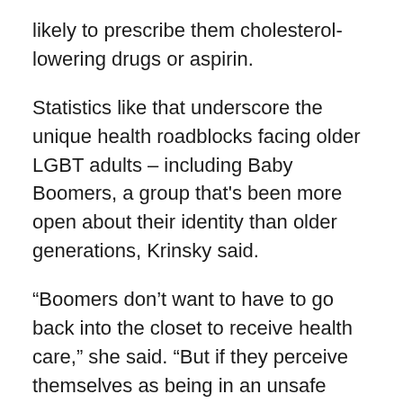likely to prescribe them cholesterol-lowering drugs or aspirin.
Statistics like that underscore the unique health roadblocks facing older LGBT adults – including Baby Boomers, a group that's been more open about their identity than older generations, Krinsky said.
“Boomers don’t want to have to go back into the closet to receive health care,” she said. “But if they perceive themselves as being in an unsafe place, they may have to go back.”
Fredriksen Goldsen said the Aging with Pride study has been expanded to explore dementia and other issues. The ongoing study has a high retention rate – 96 percent of the participants at start are still in the